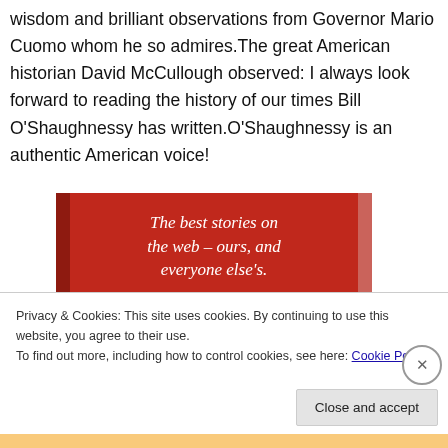wisdom and brilliant observations from Governor Mario Cuomo whom he so admires.The great American historian David McCullough observed: I always look forward to reading the history of our times Bill O'Shaughnessy has written.O'Shaughnessy is an authentic American voice!
[Figure (other): Red advertisement banner reading 'The best stories on the web – ours, and everyone else's.' with a black 'Start reading' button]
Privacy & Cookies: This site uses cookies. By continuing to use this website, you agree to their use.
To find out more, including how to control cookies, see here: Cookie Policy
Close and accept